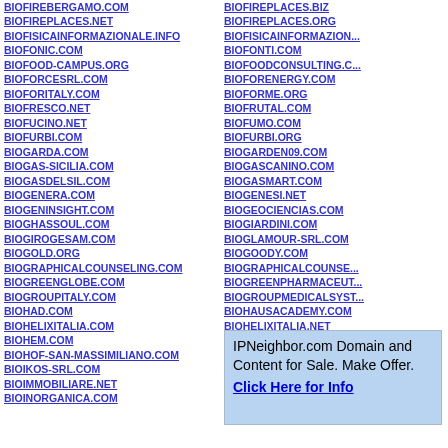BIOFIREBERGAMO.COM
BIOFIREPLACES.NET
BIOFISICAINFORMAZIONALE.INFO
BIOFONIC.COM
BIOFOOD-CAMPUS.ORG
BIOFORCESRL.COM
BIOFORITALY.COM
BIOFRESCO.NET
BIOFUCINO.NET
BIOFURBI.COM
BIOGARDA.COM
BIOGAS-SICILIA.COM
BIOGASDELSIL.COM
BIOGENERA.COM
BIOGENINSIGHT.COM
BIOGHASSOUL.COM
BIOGIROGESAM.COM
BIOGOLD.ORG
BIOGRAPHICALCOUNSELING.COM
BIOGREENGLOBE.COM
BIOGROUPITALY.COM
BIOHAD.COM
BIOHELIXITALIA.COM
BIOHEM.COM
BIOHOF-SAN-MASSIMILIANO.COM
BIOIKOS-SRL.COM
BIOIMMOBILIARE.NET
BIOINORGANICA.COM
BIOFIREPLACES.BIZ
BIOFIREPLACES.ORG
BIOFISICAINFORMAZION...
BIOFONTI.COM
BIOFOODCONSULTING.C...
BIOFORENERGY.COM
BIOFORME.ORG
BIOFRUTAL.COM
BIOFUMO.COM
BIOFURBI.ORG
BIOGARDEN09.COM
BIOGASCANINO.COM
BIOGASMART.COM
BIOGENESI.NET
BIOGEOCIENCIAS.COM
BIOGIARDINI.COM
BIOGLAMOUR-SRL.COM
BIOGOODY.COM
BIOGRAPHICALCOUNSE...
BIOGREENPHARMACEUT...
BIOGROUPMEDICALSYST...
BIOHAUSACADEMY.COM
BIOHELIXITALIA.NET
IPNeighbor.com Domain and Content for Sale. Make Offer. Click Here for Info